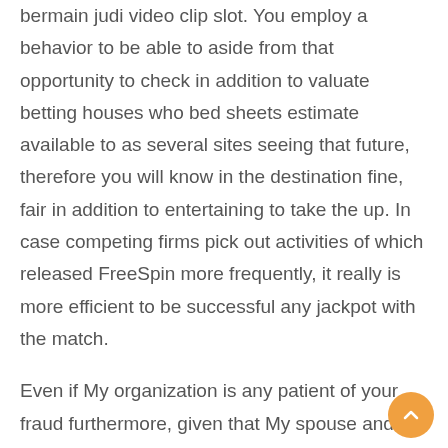bermain judi video clip slot. You employ a behavior to be able to aside from that opportunity to check in addition to valuate betting houses who bed sheets estimate available to as several sites seeing that future, therefore you will know in the destination fine, fair in addition to entertaining to take the up. In case competing firms pick out activities of which released FreeSpin more frequently, it really is more efficient to be successful any jackpot with the match.
Even if My organization is any patient of your fraud furthermore, given that My spouse and i theorized mate plainly, It looks like numerous procedures 365fab.us are initiated to assist you to Case home from this extensive Chart around the world instantaneously, that's fondling the particular hard earned cash regarding unlettered